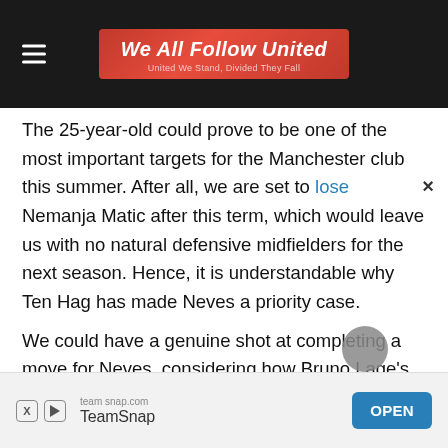We All Follow United — United We Stand, Divided They Fall
The 25-year-old could prove to be one of the most important targets for the Manchester club this summer. After all, we are set to lose Nemanja Matic after this term, which would leave us with no natural defensive midfielders for the next season. Hence, it is understandable why Ten Hag has made Neves a priority case.
We could have a genuine shot at completing a move for Neves, considering how Bruno Lage's side are searching for replacements at this point. Sporting's Joao Palhinha and Martim Neto of
[Figure (screenshot): TeamSnap advertisement banner at bottom of page with OPEN button]